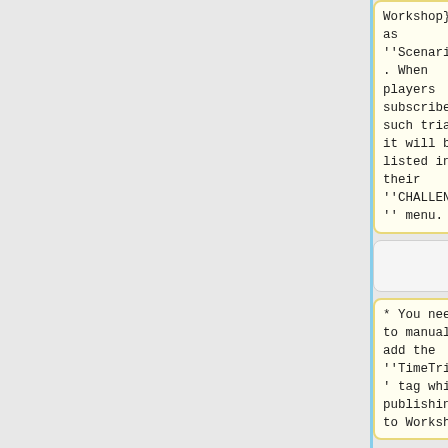Workshop}} as ''Scenario''. When players subscribe to such trial, it will be listed in their ''CHALLENGES'' menu.
{Uni~Steam Workshop}} as ''Scenario''. When players subscribe to such trial, it will be listed in their ''CHALLENGES'' menu.
* You need to manually add the ''TimeTrial'' tag while publishing to Workshop!
* You need to manually add the ''TimeTrial'' tag while publishing to Workshop!